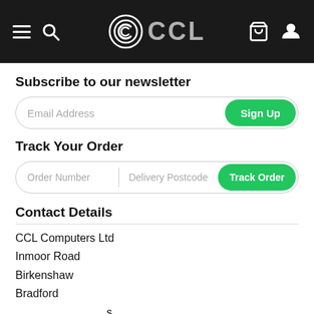CCL (CCL Computers) navigation header with hamburger menu, search, logo, basket, and user icons
Subscribe to our newsletter
Email Address | Sign Up
Track Your Order
Order Number | Delivery Postcode | Track Order
Contact Details
CCL Computers Ltd
Inmoor Road
Birkenshaw
Bradford
About Us
[Figure (other): Blue circular chat/support button with speech bubble icon]